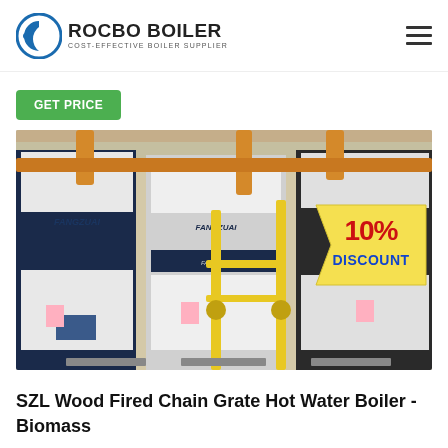ROCBO BOILER — COST-EFFECTIVE BOILER SUPPLIER
Get Price
[Figure (photo): Industrial boilers (FANGZUAI brand) installed in a boiler room with yellow and orange piping. A '10% DISCOUNT' sticker is visible in the upper-right corner of the image.]
SZL Wood Fired Chain Grate Hot Water Boiler - Biomass